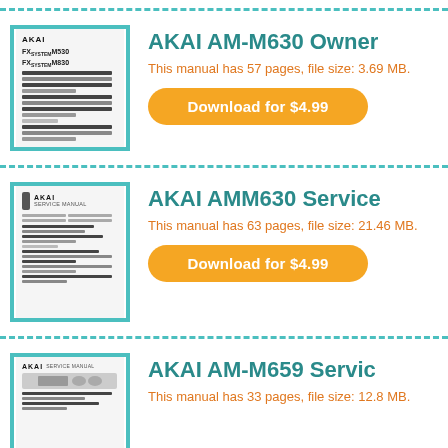[Figure (illustration): Thumbnail of AKAI AM-M630 owner's manual cover]
AKAI AM-M630 Owner's Manual
This manual has 57 pages, file size: 3.69 MB.
Download for $4.99
[Figure (illustration): Thumbnail of AKAI AMM630 service manual cover]
AKAI AMM630 Service Manual
This manual has 63 pages, file size: 21.46 MB.
Download for $4.99
[Figure (illustration): Thumbnail of AKAI AM-M659 service manual cover]
AKAI AM-M659 Service Manual
This manual has 33 pages, file size: 12.8 MB.